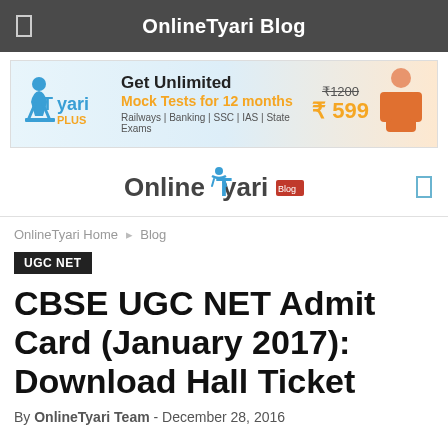OnlineTyari Blog
[Figure (screenshot): TyariPLUS advertisement banner: Get Unlimited Mock Tests for 12 months. Railways | Banking | SSC | IAS | State Exams. Price: ₹1200 (strikethrough) ₹599]
[Figure (logo): OnlineTyari Blog logo with stylized figure and text]
OnlineTyari Home ▶ Blog
UGC NET
CBSE UGC NET Admit Card (January 2017): Download Hall Ticket
By OnlineTyari Team - December 28, 2016